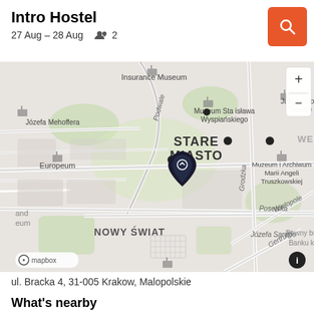Intro Hostel
27 Aug – 28 Aug   👥 2
[Figure (map): Map showing Stare Miasto (Old Town) area in Krakow, Poland. Features streets including Podwale, Grodzka, Poselska, Wielopole, Gertrudy, Józefa Sarego. Landmarks include Insurance Museum, Muzeum Stanisława Wyspiańskiego, Europeum, Juliusz Słowacki Theatre, Muzeum i Archiwum Marii Angeli Truszkowskiej. Neighborhood labels: STARE MIASTO, NOWY ŚWIAT, WE. A dark map pin marks the hostel location. Mapbox logo in bottom left, info button bottom right.]
ul. Bracka 4, 31-005 Krakow, Malopolskie
What's nearby